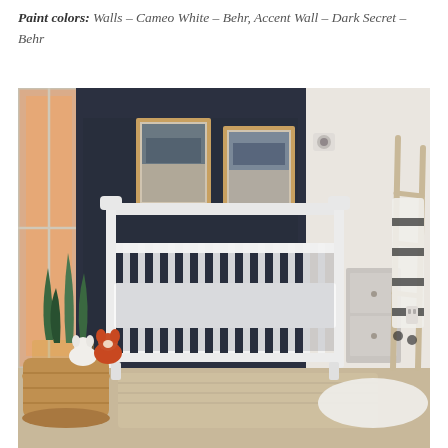Paint colors: Walls – Cameo White – Behr, Accent Wall – Dark Secret – Behr
[Figure (photo): Nursery room with a white baby crib centered against a dark navy accent wall. Two framed landscape prints hung above the crib. A snake plant in a woven basket sits to the left with stuffed animal toys. A decorative wooden ladder leans against the right white wall. A striped throw blanket hangs on the ladder. A patterned area rug is visible on the floor.]